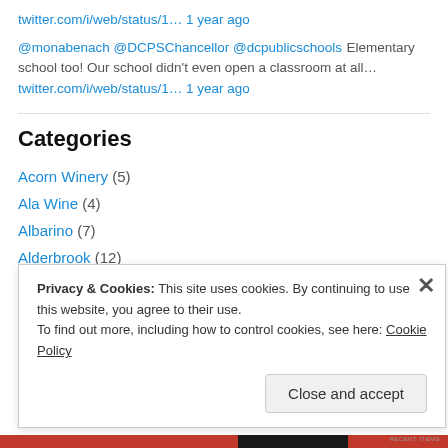twitter.com/i/web/status/1… 1 year ago
@monabenach @DCPSChancellor @dcpublicschools Elementary school too! Our school didn't even open a classroom at all… twitter.com/i/web/status/1… 1 year ago
Categories
Acorn Winery (5)
Ala Wine (4)
Albarino (7)
Alderbrook (12)
Privacy & Cookies: This site uses cookies. By continuing to use this website, you agree to their use. To find out more, including how to control cookies, see here: Cookie Policy